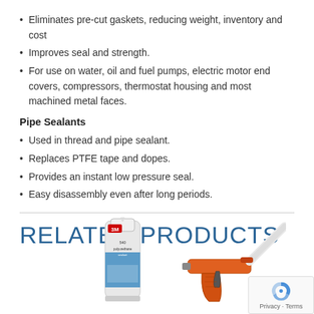Eliminates pre-cut gaskets, reducing weight, inventory and cost
Improves seal and strength.
For use on water, oil and fuel pumps, electric motor end covers, compressors, thermostat housing and most machined metal faces.
Pipe Sealants
Used in thread and pipe sealant.
Replaces PTFE tape and dopes.
Provides an instant low pressure seal.
Easy disassembly even after long periods.
RELATED PRODUCTS
[Figure (photo): Product photo of 3M 540 polyurethane sealant tube (white/blue tube)]
[Figure (photo): Product photo of an orange caulking/sealant application gun]